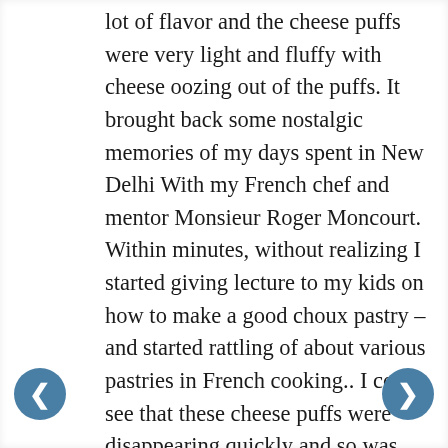lot of flavor and the cheese puffs were very light and fluffy with cheese oozing out of the puffs. It brought back some nostalgic memories of my days spent in New Delhi With my French chef and mentor Monsieur Roger Moncourt. Within minutes, without realizing I started giving lecture to my kids on how to make a good choux pastry – and started rattling of about various pastries in French cooking.. I could see that these cheese puffs were disappearing quickly and so was the risotto.My wife who is a big fan of French onion soup had most of the soup to herself.
For the main course, my son ordered Mussels with white wine and garlic, my wife ordered the Tuna Burger, the birthday girl ordered Sautéed Scallops with tagliatelle Provencal